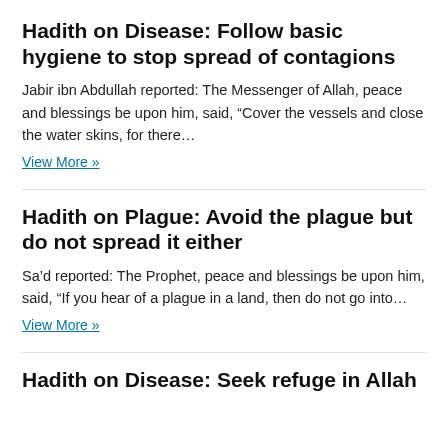Hadith on Disease: Follow basic hygiene to stop spread of contagions
Jabir ibn Abdullah reported: The Messenger of Allah, peace and blessings be upon him, said, “Cover the vessels and close the water skins, for there...
View More »
Hadith on Plague: Avoid the plague but do not spread it either
Sa’d reported: The Prophet, peace and blessings be upon him, said, “If you hear of a plague in a land, then do not go into...
View More »
Hadith on Disease: Seek refuge in Allah